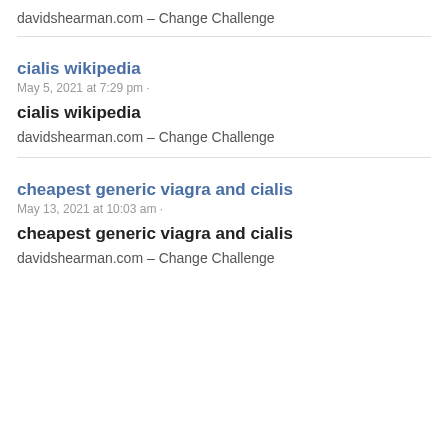davidshearman.com – Change Challenge
cialis wikipedia
May 5, 2021 at 7:29 pm ·
cialis wikipedia
davidshearman.com – Change Challenge
cheapest generic viagra and cialis
May 13, 2021 at 10:03 am ·
cheapest generic viagra and cialis
davidshearman.com – Change Challenge